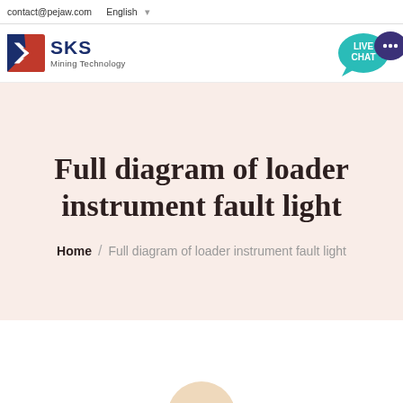contact@pejaw.com  English
[Figure (logo): SKS Mining Technology logo with blue and red arrow/chevron icon and company name]
[Figure (infographic): Live Chat speech bubble icon in teal with dark purple chat bubble]
Full diagram of loader instrument fault light
Home / Full diagram of loader instrument fault light